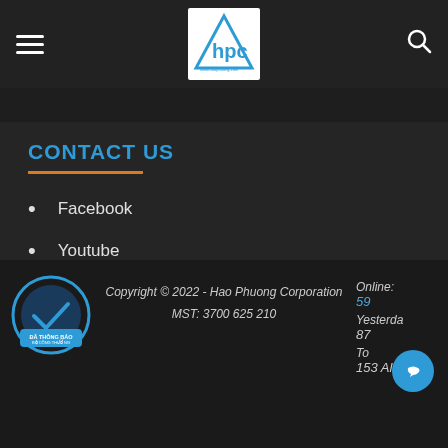HPC - Hao Phuong Corporation - navigation header with logo
CONTACT US
Facebook
Youtube
Zalo
Company Profile
Buy now
Copyright © 2022 - Hao Phuong Corporation MST: 3700 625 210 Online: 59 Yesterday: 87 To... 153 All...